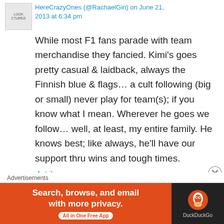HereCrazyOnes (@RachaelGin) on June 21, 2013 at 6:34 pm
While most F1 fans parade with team merchandise they fancied. Kimi's goes pretty casual & laidback, always the Finnish blue & flags… a cult following (big or small) never play for team(s); if you know what I mean. Wherever he goes we follow… well, at least, my entire family. He knows best; like always, he'll have our support thru wins and tough times.
Like
Reply
[Figure (infographic): DuckDuckGo advertisement banner: orange left side with text 'Search, browse, and email with more privacy. All in One Free App' and dark right side with DuckDuckGo duck logo and brand name.]